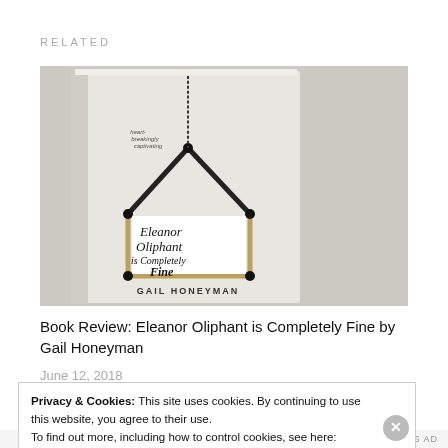RELATED
[Figure (photo): Book cover of 'Eleanor Oliphant is Completely Fine' by Gail Honeyman, showing the book propped against a light background with a decorative house-shaped sign frame on the cover.]
Book Review: Eleanor Oliphant is Completely Fine by Gail Honeyman
June 12, 2018
Privacy & Cookies: This site uses cookies. By continuing to use this website, you agree to their use.
To find out more, including how to control cookies, see here: Cookie Policy
Close and accept